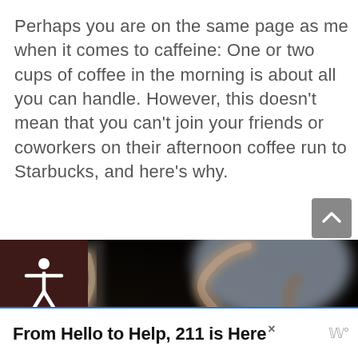Perhaps you are on the same page as me when it comes to caffeine: One or two cups of coffee in the morning is about all you can handle. However, this doesn't mean that you can't join your friends or coworkers on their afternoon coffee run to Starbucks, and here's why.
[Figure (photo): Close-up photograph of swirling steam or smoke rising from a coffee cup against a dark blurred background.]
From Hello to Help, 211 is Here